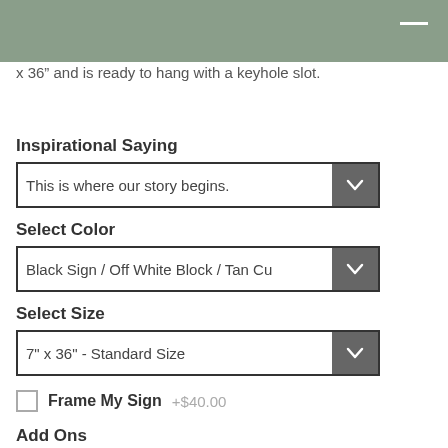x 36” and is ready to hang with a keyhole slot.
Inspirational Saying
This is where our story begins.
Select Color
Black Sign / Off White Block / Tan Cu
Select Size
7" x 36" - Standard Size
Frame My Sign +$40.00
Add Ons